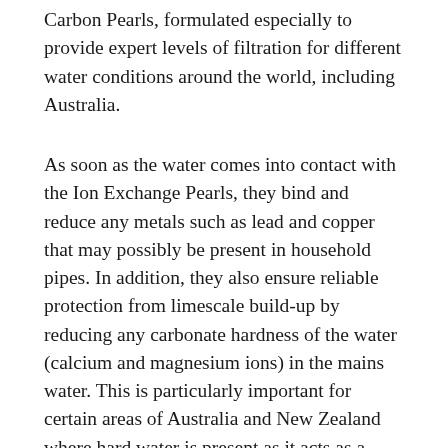Carbon Pearls, formulated especially to provide expert levels of filtration for different water conditions around the world, including Australia.
As soon as the water comes into contact with the Ion Exchange Pearls, they bind and reduce any metals such as lead and copper that may possibly be present in household pipes. In addition, they also ensure reliable protection from limescale build-up by reducing any carbonate hardness of the water (calcium and magnesium ions) in the mains water. This is particularly important for certain areas of Australia and New Zealand where hard water is present as it acts as a “water softener”.